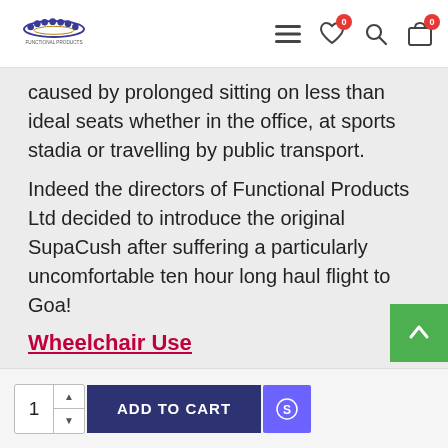Functional Products [logo] — navigation icons: menu, wishlist (0), search, cart (0)
caused by prolonged sitting on less than ideal seats whether in the office, at sports stadia or travelling by public transport.

Indeed the directors of Functional Products Ltd decided to introduce the original SupaCush after suffering a particularly uncomfortable ten hour long haul flight to Goa!
Wheelchair Use
1  ADD TO CART  [S icon]